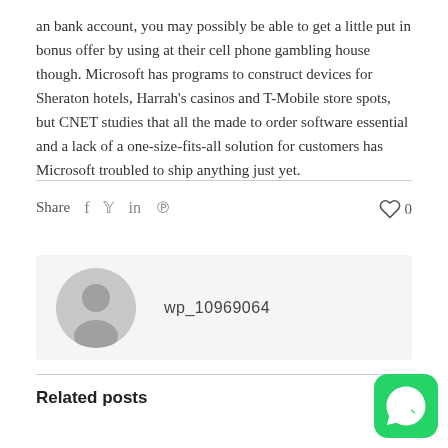an bank account, you may possibly be able to get a little put in bonus offer by using at their cell phone gambling house though. Microsoft has programs to construct devices for Sheraton hotels, Harrah's casinos and T-Mobile store spots, but CNET studies that all the made to order software essential and a lack of a one-size-fits-all solution for customers has Microsoft troubled to ship anything just yet.
Share  f  y  in  P   0
wp_10969064
Related posts